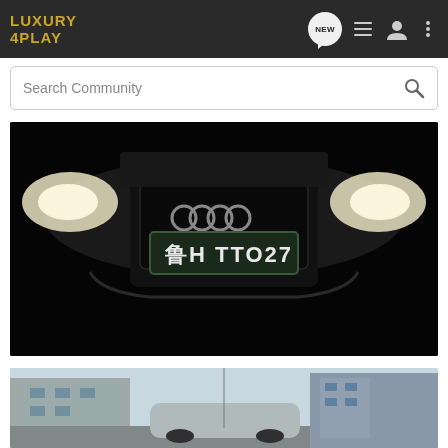LUXURY 4PLAY
[Figure (screenshot): Navigation bar with NEW bubble icon, list icon, user icon, and more options icon]
Search Community
[Figure (photo): Front view of an Audi car at night with headlights on and Chinese license plate reading 鲁H TT027]
[Figure (photo): Partial view of a car on a street with buildings in the background, daytime]